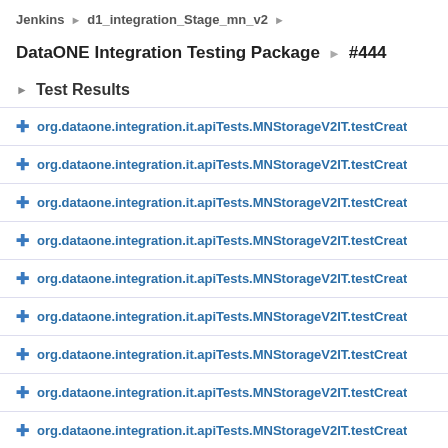Jenkins > d1_integration_Stage_mn_v2 >
DataONE Integration Testing Package > #444
Test Results
org.dataone.integration.it.apiTests.MNStorageV2IT.testCreat...
org.dataone.integration.it.apiTests.MNStorageV2IT.testCreat...
org.dataone.integration.it.apiTests.MNStorageV2IT.testCreat...
org.dataone.integration.it.apiTests.MNStorageV2IT.testCreat...
org.dataone.integration.it.apiTests.MNStorageV2IT.testCreat...
org.dataone.integration.it.apiTests.MNStorageV2IT.testCreat...
org.dataone.integration.it.apiTests.MNStorageV2IT.testCreat...
org.dataone.integration.it.apiTests.MNStorageV2IT.testCreat...
org.dataone.integration.it.apiTests.MNStorageV2IT.testCreat...